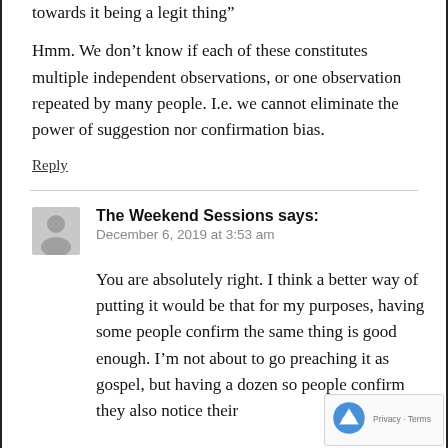towards it being a legit thing”
Hmm. We don’t know if each of these constitutes multiple independent observations, or one observation repeated by many people. I.e. we cannot eliminate the power of suggestion nor confirmation bias.
Reply
The Weekend Sessions says:
December 6, 2019 at 3:53 am
You are absolutely right. I think a better way of putting it would be that for my purposes, having some people confirm the same thing is good enough. I’m not about to go preaching it as gospel, but having a dozen so people confirm they also notice their